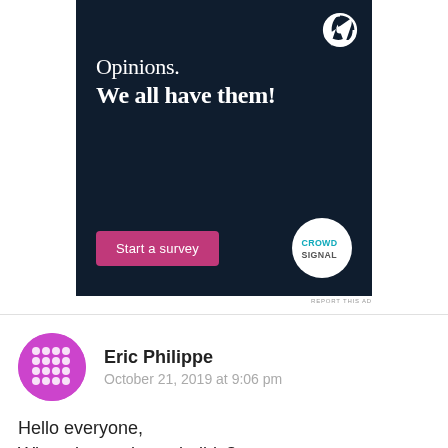[Figure (illustration): Advertisement banner with dark navy background. WordPress logo top right. Text reads 'Opinions. We all have them!' with a pink 'Start a survey' button and Crowdsignal circular logo at bottom.]
REPORT THIS AD
Eric Philippe
October 21, 2019 at 9:06 pm
Hello everyone,
What about release builds?
I tried this app again, and while it works fine on Debug builds, here's the problem I encounter when building in